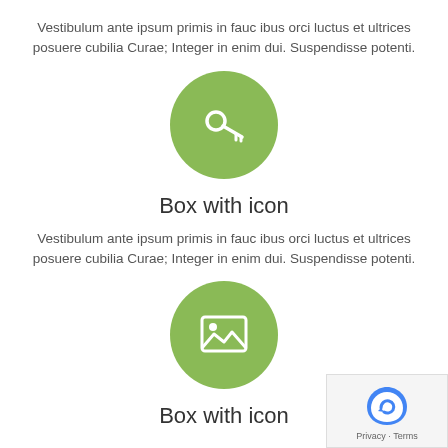Vestibulum ante ipsum primis in fauc ibus orci luctus et ultrices posuere cubilia Curae; Integer in enim dui. Suspendisse potenti.
[Figure (illustration): Green circle with white key icon]
Box with icon
Vestibulum ante ipsum primis in fauc ibus orci luctus et ultrices posuere cubilia Curae; Integer in enim dui. Suspendisse potenti.
[Figure (illustration): Green circle with white image/photo icon]
Box with icon